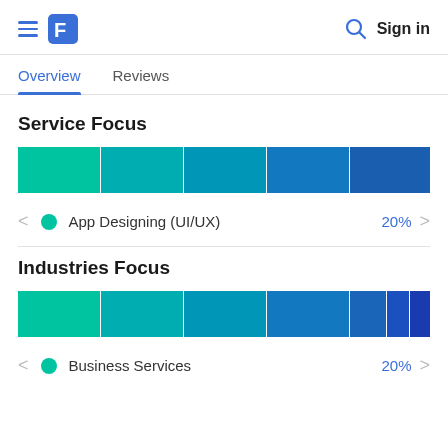≡ [Logo] [Search] Sign in
Overview | Reviews
Service Focus
[Figure (stacked-bar-chart): Service Focus]
App Designing (UI/UX) 20%
Industries Focus
[Figure (stacked-bar-chart): Industries Focus]
Business Services 20%